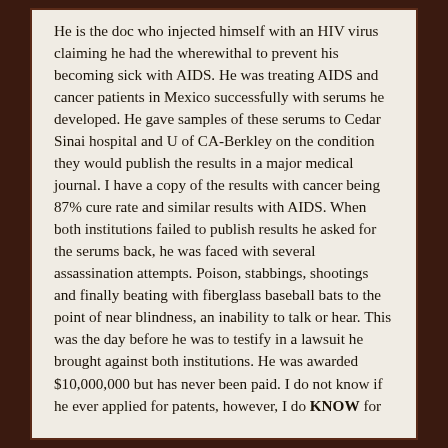He is the doc who injected himself with an HIV virus claiming he had the wherewithal to prevent his becoming sick with AIDS. He was treating AIDS and cancer patients in Mexico successfully with serums he developed. He gave samples of these serums to Cedar Sinai hospital and U of CA-Berkley on the condition they would publish the results in a major medical journal. I have a copy of the results with cancer being 87% cure rate and similar results with AIDS. When both institutions failed to publish results he asked for the serums back, he was faced with several assassination attempts. Poison, stabbings, shootings and finally beating with fiberglass baseball bats to the point of near blindness, an inability to talk or hear. This was the day before he was to testify in a lawsuit he brought against both institutions. He was awarded $10,000,000 but has never been paid. I do not know if he ever applied for patents, however, I do KNOW for